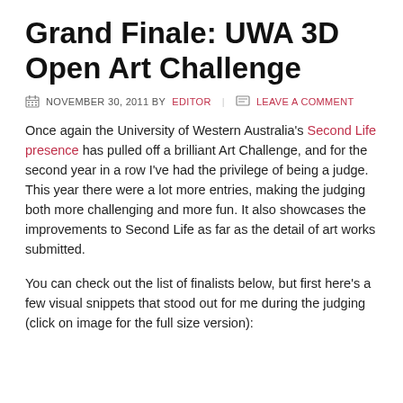Grand Finale: UWA 3D Open Art Challenge
NOVEMBER 30, 2011 BY EDITOR   LEAVE A COMMENT
Once again the University of Western Australia's Second Life presence has pulled off a brilliant Art Challenge, and for the second year in a row I've had the privilege of being a judge. This year there were a lot more entries, making the judging both more challenging and more fun. It also showcases the improvements to Second Life as far as the detail of art works submitted.
You can check out the list of finalists below, but first here's a few visual snippets that stood out for me during the judging (click on image for the full size version):